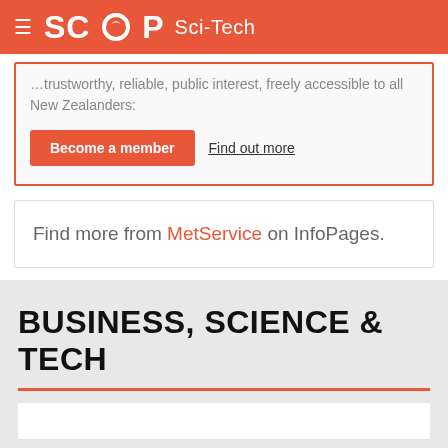SCOOP Sci-Tech
trustworthy, reliable, public interest, freely accessible to all New Zealanders:
Become a member   Find out more
Find more from MetService on InfoPages.
BUSINESS, SCIENCE & TECH